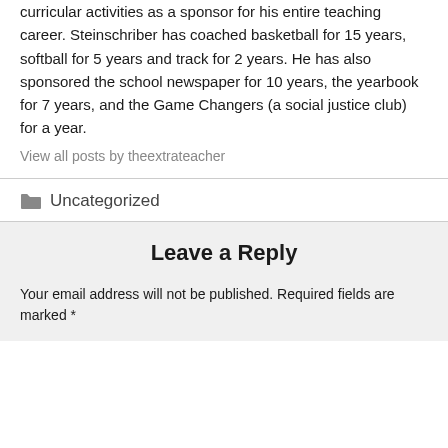curricular activities as a sponsor for his entire teaching career. Steinschriber has coached basketball for 15 years, softball for 5 years and track for 2 years. He has also sponsored the school newspaper for 10 years, the yearbook for 7 years, and the Game Changers (a social justice club) for a year.
View all posts by theextrateacher
Uncategorized
Leave a Reply
Your email address will not be published. Required fields are marked *